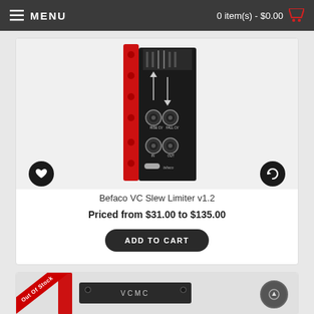MENU   0 item(s) - $0.00
[Figure (photo): Befaco VC Slew Limiter v1.2 modular synthesizer module with black panel, red frame, knobs and jacks labeled RISE CV, FALL CV, IN, OUT]
Befaco VC Slew Limiter v1.2
Priced from $31.00 to $135.00
ADD TO CART
[Figure (photo): Partially visible product card with Out Of Stock ribbon and VCMC label on a dark panel module]